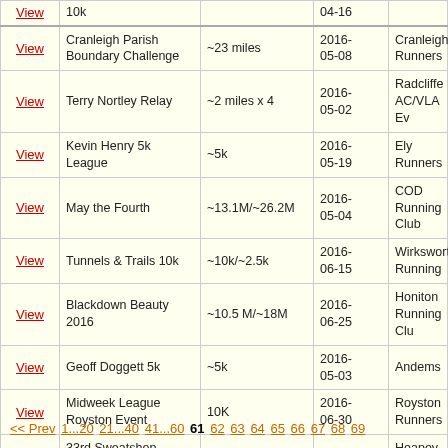|  | Name | Distance | Date | Organiser |
| --- | --- | --- | --- | --- |
| View | 10k |  | 04-16 |  |
| View | Cranleigh Parish Boundary Challenge | ~23 miles | 2016-05-08 | Cranleigh Runners |
| View | Terry Nortley Relay | ~2 miles x 4 | 2016-05-02 | Radcliffe AC/VLA Ev |
| View | Kevin Henry 5k League | ~5k | 2016-05-19 | Ely Runners |
| View | May the Fourth | ~13.1M/~26.2M | 2016-05-04 | COD Running Club |
| View | Tunnels & Trails 10k | ~10k/~2.5k | 2016-06-15 | Wirksworth Running |
| View | Blackdown Beauty 2016 | ~10.5 M/~18M | 2016-06-25 | Honiton Running Clu |
| View | Geoff Doggett 5k | ~5k | 2016-05-03 | Andems |
| View | Midweek League Royston Event | 10K | 2016-06-30 | Royston Runners |
| View | 33rd Sweatshop Through the Villages Race | ~8.45 Miles | 2016-11-06 | Heapey & Wheelton |
<< Prev 1...20 21...40 41...60 61 62 63 64 65 66 67 68 69